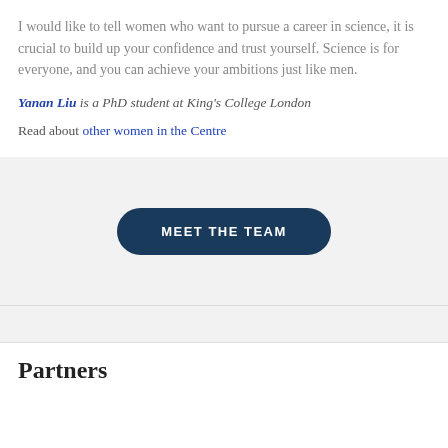I would like to tell women who want to pursue a career in science, it is crucial to build up your confidence and trust yourself. Science is for everyone, and you can achieve your ambitions just like men.
Yanan Liu is a PhD student at King's College London
Read about other women in the Centre
[Figure (other): Dark navy blue rounded rectangle button with white uppercase text reading MEET THE TEAM]
Partners